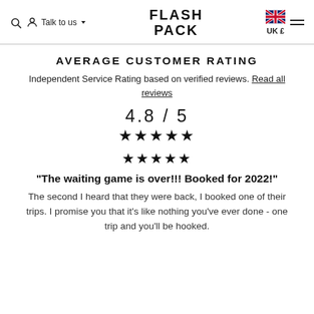Talk to us  FLASH PACK  UK £
AVERAGE CUSTOMER RATING
Independent Service Rating based on verified reviews. Read all reviews
4.8 / 5
★★★★★
★★★★★
"The waiting game is over!!! Booked for 2022!"
The second I heard that they were back, I booked one of their trips. I promise you that it's like nothing you've ever done - one trip and you'll be hooked.